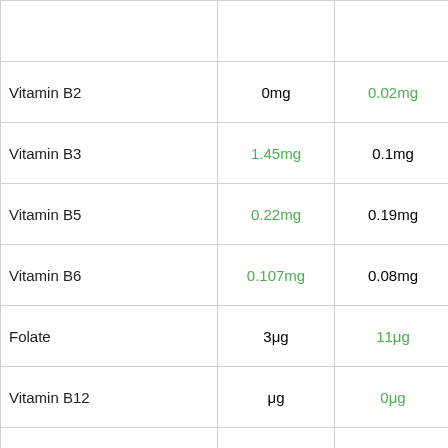| Nutrient | Value 1 | Value 2 | Image |
| --- | --- | --- | --- |
| Vitamin B2 | 0mg | 0.02mg | lemon |
| Vitamin B3 | 1.45mg | 0.1mg | orange |
| Vitamin B5 | 0.22mg | 0.19mg | orange |
| Vitamin B6 | 0.107mg | 0.08mg | orange |
| Folate | 3μg | 11μg | lemon |
| Vitamin B12 | μg | 0μg | lemon |
| Vitamin K | 14.6μg | 0μg | orange |
| Tryptophan | mg | mg |  |